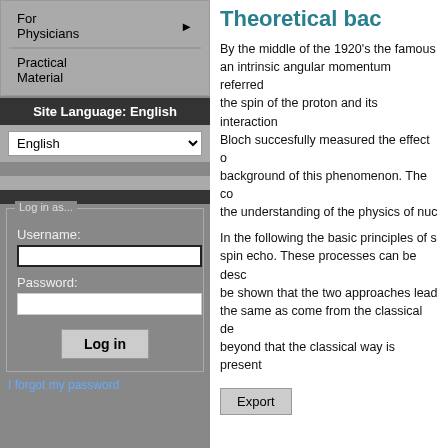For Physicians
Practical Material
Site Language: English
English
Log in as...
Username:
Password:
Log in
I forgot my password
Theoretical bac...
By the middle of the 1920's the famous... an intrinsic angular momentum referred... the spin of the proton and its interaction... Bloch succesfully measured the effect o... background of this phenomenon. The co... the understanding of the physics of nuc...
In the following the basic principles of s... spin echo. These processes can be desc... be shown that the two approaches lead... the same as come from the classical de... beyond that the classical way is present...
Export